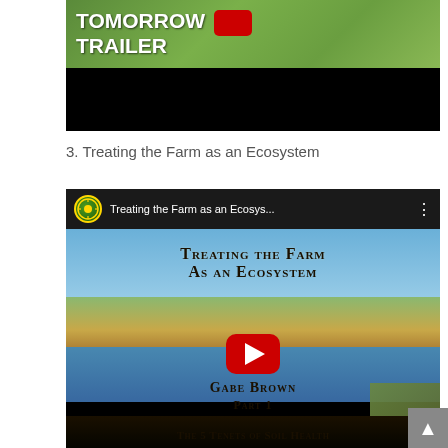[Figure (screenshot): Top portion of a YouTube video thumbnail showing text 'TOMORROW TRAILER' in white bold text over a green grassy field background with a red YouTube logo visible, bottom half is black.]
3. Treating the Farm as an Ecosystem
[Figure (screenshot): YouTube video embed showing 'Treating the Farm as an Ecosys...' with a green circular logo in the top bar. The video thumbnail shows text 'TREATING THE FARM AS AN ECOSYSTEM' and 'GABE BROWN PART 1 THE 5 TENETS OF SOIL HEALTH' over a rural landscape with a pond and grazing cattle. A red YouTube play button is centered on the image.]